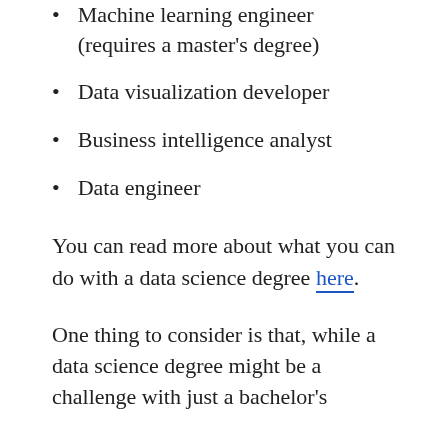Machine learning engineer (requires a master's degree)
Data visualization developer
Business intelligence analyst
Data engineer
You can read more about what you can do with a data science degree here.
One thing to consider is that, while a data science degree might be a challenge with just a bachelor's